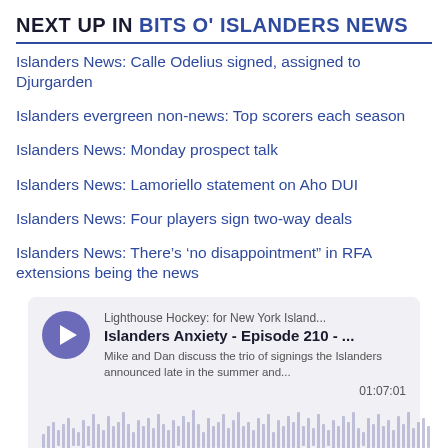NEXT UP IN BITS O' ISLANDERS NEWS
Islanders News: Calle Odelius signed, assigned to Djurgarden
Islanders evergreen non-news: Top scorers each season
Islanders News: Monday prospect talk
Islanders News: Lamoriello statement on Aho DUI
Islanders News: Four players sign two-way deals
Islanders News: There’s ‘no disappointment” in RFA extensions being the news
[Figure (screenshot): Podcast widget for 'Islanders Anxiety - Episode 210' from Lighthouse Hockey: for New York Island... with play button, description text 'Mike and Dan discuss the trio of signings the Islanders announced late in the summer and...', duration 01:07:01, and audio waveform visualization.]